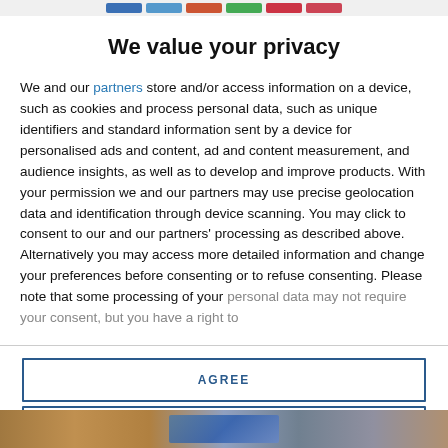[navigation bar with colored tabs]
We value your privacy
We and our partners store and/or access information on a device, such as cookies and process personal data, such as unique identifiers and standard information sent by a device for personalised ads and content, ad and content measurement, and audience insights, as well as to develop and improve products. With your permission we and our partners may use precise geolocation data and identification through device scanning. You may click to consent to our and our partners' processing as described above. Alternatively you may access more detailed information and change your preferences before consenting or to refuse consenting. Please note that some processing of your personal data may not require your consent, but you have a right to
AGREE
MORE OPTIONS
[Figure (photo): Bottom image strip showing a partial background photo]